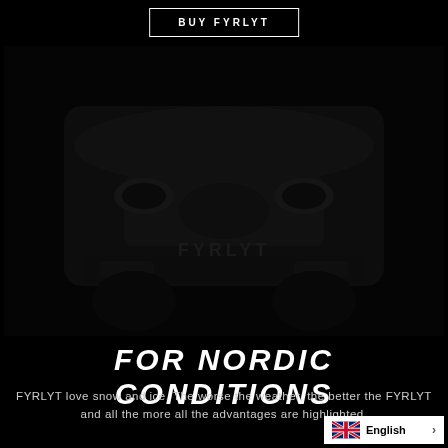BUY FYRLYT
[Figure (photo): Dark image of a car front/grille with FYRLYT lights, very low exposure, near-black]
FOR NORDIC CONDITIONS
FYRLYT love snow and ice. The worse the weather, the better the FYRLYT and all the more all the advantages are highlighted.
English